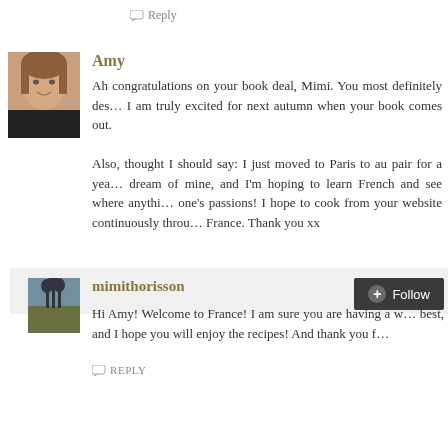Reply
Amy
Ah congratulations on your book deal, Mimi. You most definitely des... I am truly excited for next autumn when your book comes out.

Also, thought I should say: I just moved to Paris to au pair for a yea... dream of mine, and I'm hoping to learn French and see where anythi... one's passions! I hope to cook from your website continuously throu... France. Thank you xx
REPLY
mimithorisson
Hi Amy! Welcome to France! I am sure you are having a w... best, and I hope you will enjoy the recipes! And thank you f...
REPLY